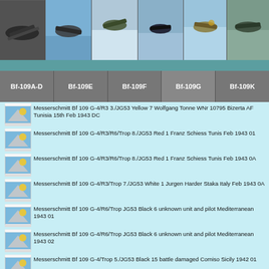[Figure (photo): Strip of 6 WWII aircraft photos across top of page]
Bf-109A-D | Bf-109E | Bf-109F | Bf-109G | Bf-109K
Messerschmitt Bf 109 G-4/R3 3./JG53 Yellow 7 Wolfgang Tonne WNr 10795 Bizerta AF Tunisia 15th Feb 1943 DC
Messerschmitt Bf 109 G-4/R3/R6/Trop 8./JG53 Red 1 Franz Schiess Tunis Feb 1943 01
Messerschmitt Bf 109 G-4/R3/R6/Trop 8./JG53 Red 1 Franz Schiess Tunis Feb 1943 0A
Messerschmitt Bf 109 G-4/R3/Trop 7./JG53 White 1 Jurgen Harder Staka Italy Feb 1943 0A
Messerschmitt Bf 109 G-4/R6/Trop JG53 Black 6 unknown unit and pilot Mediterranean 1943 01
Messerschmitt Bf 109 G-4/R6/Trop JG53 Black 6 unknown unit and pilot Mediterranean 1943 02
Messerschmitt Bf 109 G-4/Trop 5./JG53 Black 15 battle damaged Comiso Sicily 1942 01
Messerschmitt Bf 109 G-4/Trop 7./JG53 White 10 Comiso Sicily Oct 1942 ebay1
Messerschmitt Bf 109 G-6 2./JG53 Black 20 Stkz NQ+Ex WNr 16177 Borovo Croatia May 1944 01
Messerschmitt Bf 109 G-6 2./JG53 Black 20 Stkz NQ+Ex WNr...